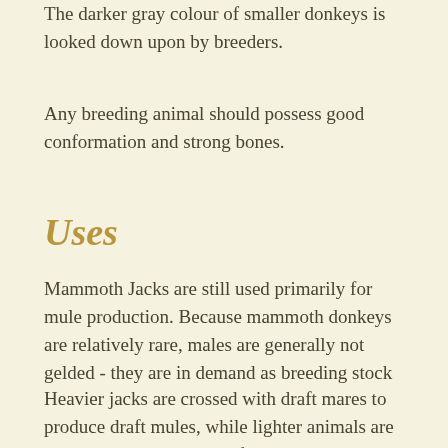The darker gray colour of smaller donkeys is looked down upon by breeders.
Any breeding animal should possess good conformation and strong bones.
Uses
Mammoth Jacks are still used primarily for mule production. Because mammoth donkeys are relatively rare, males are generally not gelded - they are in demand as breeding stock
Heavier jacks are crossed with draft mares to produce draft mules, while lighter animals are bred to light horse mares for saddle mule production.vMany of these mares come from